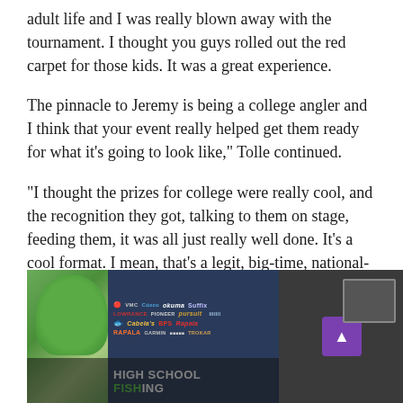adult life and I was really blown away with the tournament. I thought you guys rolled out the red carpet for those kids. It was a great experience.
The pinnacle to Jeremy is being a college angler and I think that your event really helped get them ready for what it’s going to look like,” Tolle continued.
“I thought the prizes for college were really cool, and the recognition they got, talking to them on stage, feeding them, it was all just really well done. It’s a cool format. I mean, that’s a legit, big-time, national- level (format) that’s what it’s like. Let them experience it.”
[Figure (photo): A photo showing two people at an outdoor fishing tournament event with a sponsor banner backdrop reading HIGH SCHOOL FISHING with various sponsor logos including Lowrance, VMC, Cabela's, Pursuit, Okuma, Suffix, Bass Pro Shops, Rapala, and others. Trees are visible in the background. On the right side is a dark panel with a purple scroll-to-top button and a monitor screen.]